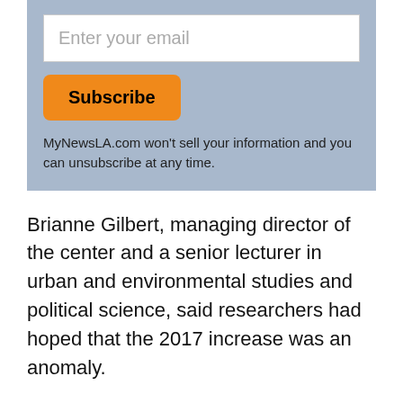[Figure (other): Email subscription box with input field, Subscribe button, and privacy notice on a steel-blue background]
Brianne Gilbert, managing director of the center and a senior lecturer in urban and environmental studies and political science, said researchers had hoped that the 2017 increase was an anomaly.
“But it wasn’t. Not even close,” Gilbert said in a statement. “Now a full 68% of residents in